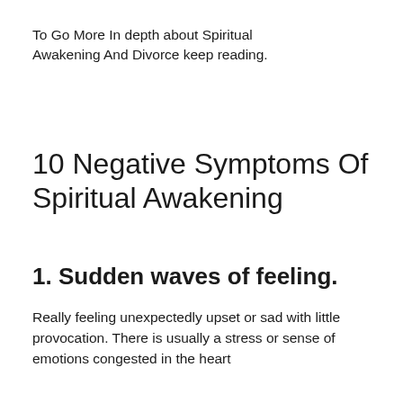To Go More In depth about Spiritual Awakening And Divorce keep reading.
10 Negative Symptoms Of Spiritual Awakening
1. Sudden waves of feeling.
Really feeling unexpectedly upset or sad with little provocation. There is usually a stress or sense of emotions congested in the heart